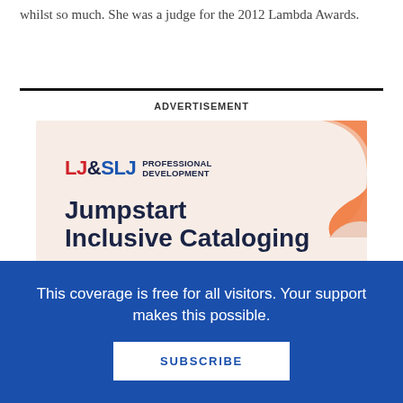whilst so much. She was a judge for the 2012 Lambda Awards.
ADVERTISEMENT
[Figure (illustration): LJ&SLJ Professional Development advertisement banner with orange wave decoration on cream background. Features bold heading 'Jumpstart Inclusive Cataloging' with subtitle 'One-Day Online']
This coverage is free for all visitors. Your support makes this possible.
SUBSCRIBE